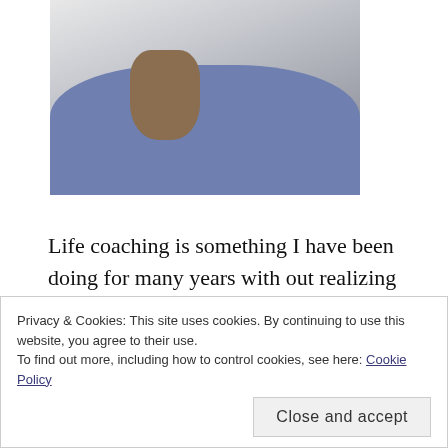[Figure (photo): A person wearing a blue/grey shirt with their hand raised near their chin, appearing to be in a thoughtful pose. Only the torso and lower face/hand are visible.]
Life coaching is something I have been doing for many years with out realizing that I was actually doing it. I love the challenge of motivating and coaching someone to see that best in themselves and for them to run with the vision and dream in their heart!
Privacy & Cookies: This site uses cookies. By continuing to use this website, you agree to their use.
To find out more, including how to control cookies, see here: Cookie Policy
Close and accept